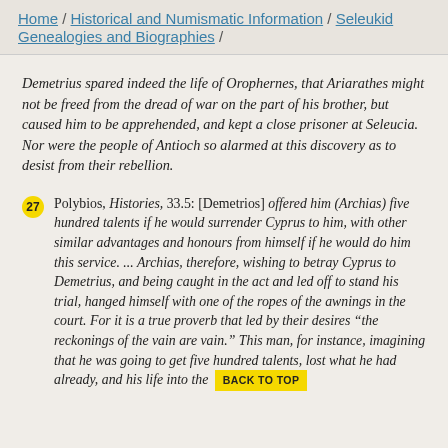Home / Historical and Numismatic Information / Seleukid Genealogies and Biographies /
Demetrius spared indeed the life of Orophernes, that Ariarathes might not be freed from the dread of war on the part of his brother, but caused him to be apprehended, and kept a close prisoner at Seleucia. Nor were the people of Antioch so alarmed at this discovery as to desist from their rebellion.
27 Polybios, Histories, 33.5: [Demetrios] offered him (Archias) five hundred talents if he would surrender Cyprus to him, with other similar advantages and honours from himself if he would do him this service. ... Archias, therefore, wishing to betray Cyprus to Demetrius, and being caught in the act and led off to stand his trial, hanged himself with one of the ropes of the awnings in the court. For it is a true proverb that led by their desires “the reckonings of the vain are vain.” This man, for instance, imagining that he was going to get five hundred talents, lost what he had already, and his life into the BACK TO TOP